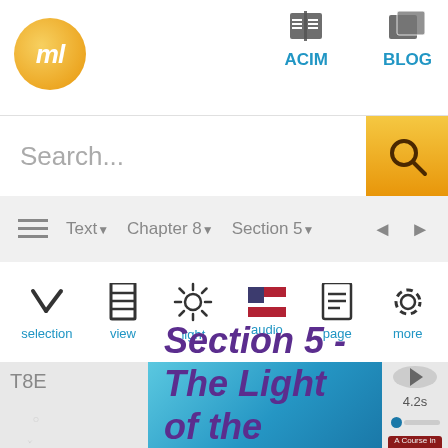[Figure (screenshot): App logo: orange circle with italic 'ml' text in white]
ACIM   BLOG
Search...
≡  Text▼  Chapter 8▼  Section 5▼  ◄  ►
selection   view   light   audio   page   more
T8E
Section 5 - The Light of the World
4.2s